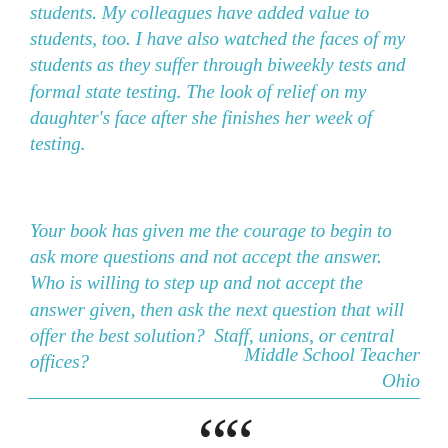students. My colleagues have added value to students, too. I have also watched the faces of my students as they suffer through biweekly tests and formal state testing. The look of relief on my daughter's face after she finishes her week of testing.
Your book has given me the courage to begin to ask more questions and not accept the answer.  Who is willing to step up and not accept the answer given, then ask the next question that will offer the best solution?  Staff, unions, or central offices?
Middle School Teacher
Ohio
[Figure (illustration): Large open double quotation mark symbol in dark color at the bottom of the page]